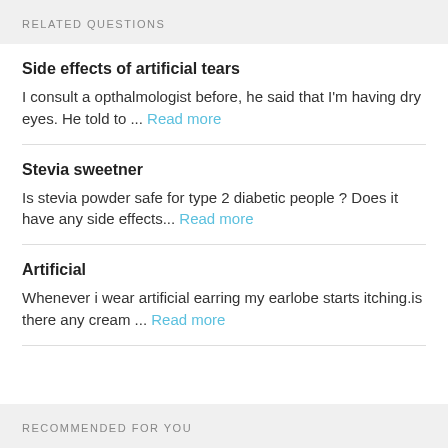RELATED QUESTIONS
Side effects of artificial tears
I consult a opthalmologist before, he said that I'm having dry eyes. He told to ... Read more
Stevia sweetner
Is stevia powder safe for type 2 diabetic people ? Does it have any side effects... Read more
Artificial
Whenever i wear artificial earring my earlobe starts itching.is there any cream ... Read more
RECOMMENDED FOR YOU